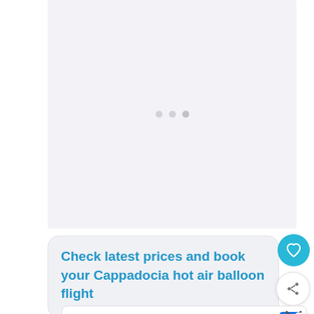[Figure (photo): Large image placeholder area (light gray) representing a photo carousel of Cappadocia hot air balloon flight, with three navigation dots in the center]
Check latest prices and book your Cappadocia hot air balloon flight
[Figure (other): Heart/favorite button (teal circle with white heart icon) and share button (white circle with share icon) on the right side]
[Figure (screenshot): Partial bottom UI showing Smoothie King listing with Dine-in (check), Curbside pickup (check), Delivery (X) options, navigation icon, close X, and WW badge]